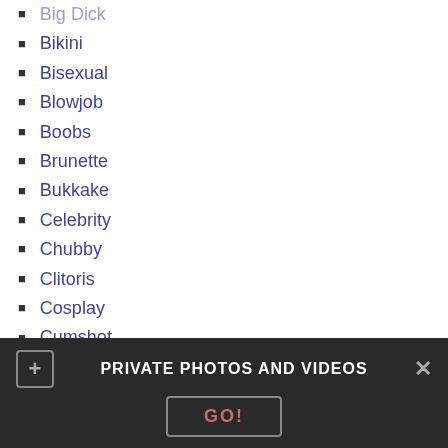Big Dick
Bikini
Bisexual
Blowjob
Boobs
Brunette
Bukkake
Celebrity
Chubby
Clitoris
Cosplay
Cumshot
Deepthroat
Dildo
Domination
Drunk
PRIVATE PHOTOS AND VIDEOS
GO!